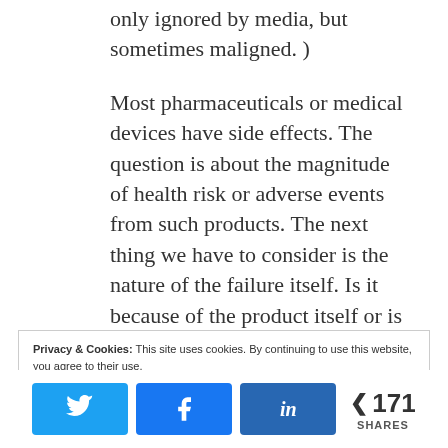only ignored by media, but sometimes maligned. )
Most pharmaceuticals or medical devices have side effects. The question is about the magnitude of health risk or adverse events from such products. The next thing we have to consider is the nature of the failure itself. Is it because of the product itself or is it because of the consumer? There may be several factors to consider but I think it is up to the consumer whether he or she is willing to risk the possible side effects for the
Privacy & Cookies: This site uses cookies. By continuing to use this website, you agree to their use.
To find out more, including how to control cookies, see here: Cookie Policy
171 SHARES